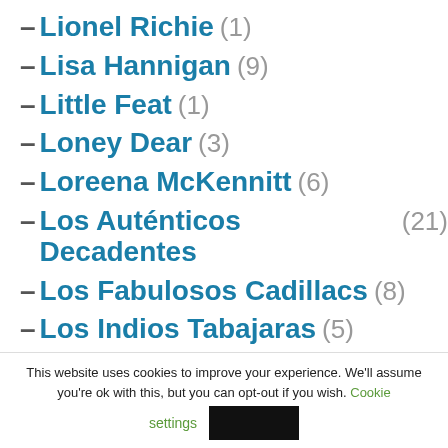– Lionel Richie (1)
– Lisa Hannigan (9)
– Little Feat (1)
– Loney Dear (3)
– Loreena McKennitt (6)
– Los Auténticos Decadentes (21)
– Los Fabulosos Cadillacs (8)
– Los Indios Tabajaras (5)
This website uses cookies to improve your experience. We'll assume you're ok with this, but you can opt-out if you wish. Cookie settings